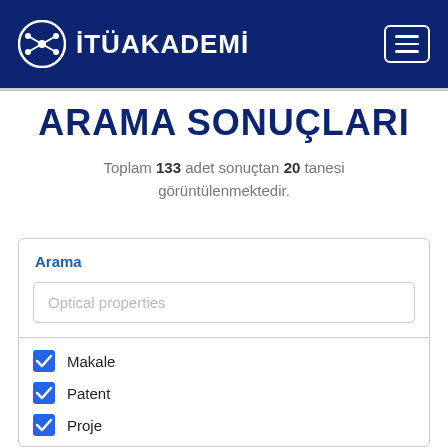[Figure (logo): İTÜ Akademi logo with network icon and text in white on dark blue header background with hamburger menu button]
ARAMA SONUÇLARI
Toplam 133 adet sonuçtan 20 tanesi görüntülenmektedir.
Arama
Optical properties
Makale
Patent
Proje